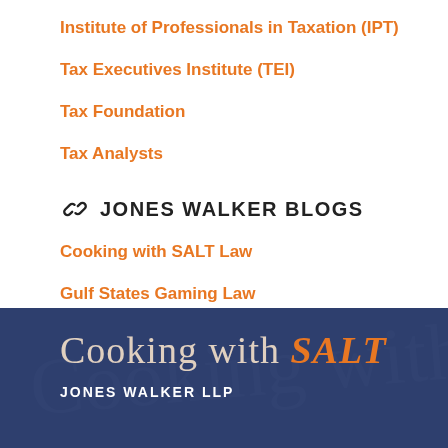Institute of Professionals in Taxation (IPT)
Tax Executives Institute (TEI)
Tax Foundation
Tax Analysts
JONES WALKER BLOGS
Cooking with SALT Law
Gulf States Gaming Law
Trade Secret Insider
[Figure (logo): Cooking with SALT / Jones Walker LLP logo on dark navy background with script text]
JONES WALKER LLP